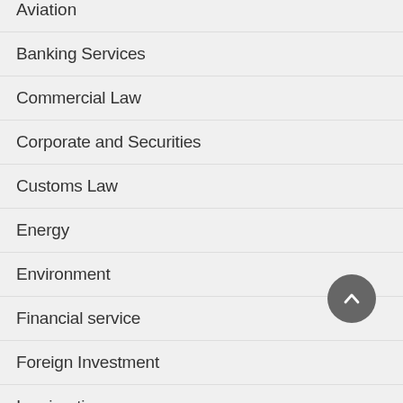Aviation
Banking Services
Commercial Law
Corporate and Securities
Customs Law
Energy
Environment
Financial service
Foreign Investment
Immigration
Insurance